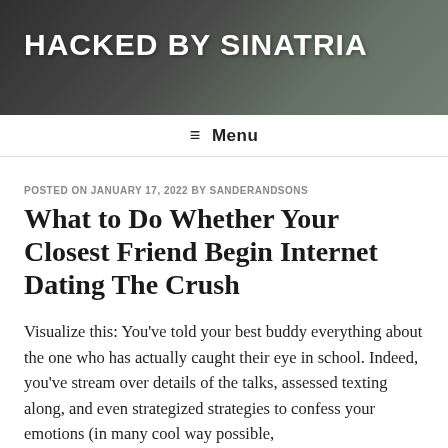HACKED BY SINATRIA
≡ Menu
POSTED ON JANUARY 17, 2022 BY SANDERANDSONS
What to Do Whether Your Closest Friend Begin Internet Dating The Crush
Visualize this: You've told your best buddy everything about the one who has actually caught their eye in school. Indeed, you've stream over details of the talks, assessed texting along, and even strategized strategies to confess your emotions (in many cool way possible,